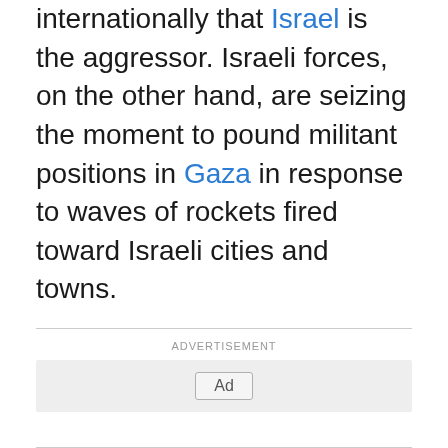internationally that Israel is the aggressor. Israeli forces, on the other hand, are seizing the moment to pound militant positions in Gaza in response to waves of rockets fired toward Israeli cities and towns.
ADVERTISEMENT
[Figure (other): Advertisement placeholder box with 'Ad' button label centered in a light gray rectangle]